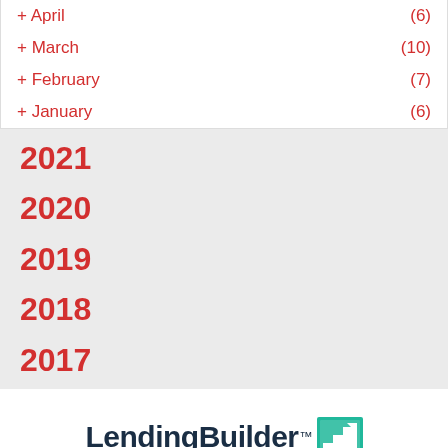+ April (6)
+ March (10)
+ February (7)
+ January (6)
2021
2020
2019
2018
2017
[Figure (logo): LendingBuilder logo with teal square icon containing a staircase graphic and trademark symbol]
Take the SBA Loan Quiz to reveal the